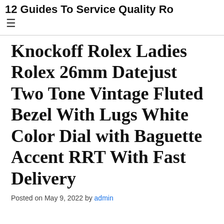12 Guides To Service Quality Ro…
Knockoff Rolex Ladies Rolex 26mm Datejust Two Tone Vintage Fluted Bezel With Lugs White Color Dial with Baguette Accent RRT With Fast Delivery
Posted on May 9, 2022 by admin